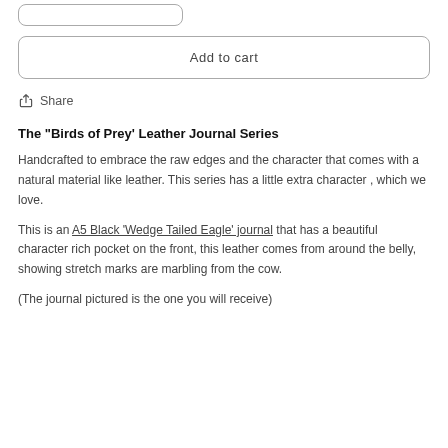[Figure (other): Partial rounded rectangle button visible at top of page (cropped)]
Add to cart
Share
The "Birds of Prey' Leather Journal Series
Handcrafted to embrace the raw edges and the character that comes with a natural material like leather. This series has a little extra character , which we love.
This is an A5 Black 'Wedge Tailed Eagle' journal that has a beautiful character rich pocket on the front, this leather comes from around the belly, showing stretch marks are marbling from the cow.
(The journal pictured is the one you will receive)